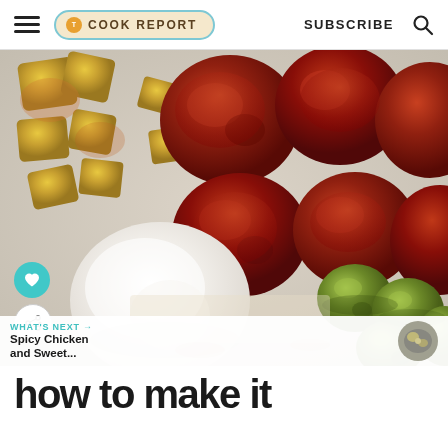The Cook Report — SUBSCRIBE
[Figure (photo): Close-up food photo showing spiced meatballs with roasted potato chunks, green olives, and a dollop of white cream/yogurt on a light surface. Social icons (heart and share) overlaid at bottom-left. 'What's Next → Spicy Chicken and Sweet...' bar at bottom with thumbnail.]
how to make it